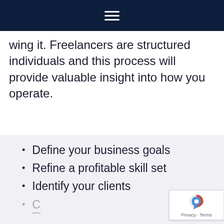wing it. Freelancers are structured individuals and this process will provide valuable insight into how you operate.
Define your business goals
Refine a profitable skill set
Identify your clients